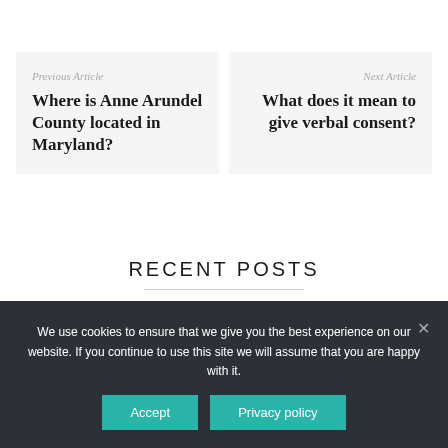Previous Article
Where is Anne Arundel County located in Maryland?
Next Article
What does it mean to give verbal consent?
RECENT POSTS
We use cookies to ensure that we give you the best experience on our website. If you continue to use this site we will assume that you are happy with it.
Accept
Privacy policy